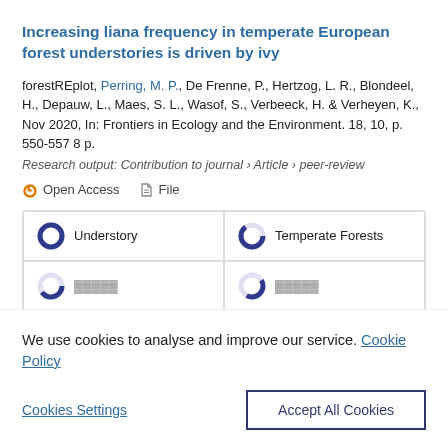Increasing liana frequency in temperate European forest understories is driven by ivy
forestREplot, Perring, M. P., De Frenne, P., Hertzog, L. R., Blondeel, H., Depauw, L., Maes, S. L., Wasof, S., Verbeeck, H. & Verheyen, K., Nov 2020, In: Frontiers in Ecology and the Environment. 18, 10, p. 550-557 8 p.
Research output: Contribution to journal › Article › peer-review
Open Access   File
Understory
Temperate Forests
We use cookies to analyse and improve our service. Cookie Policy
Cookies Settings
Accept All Cookies